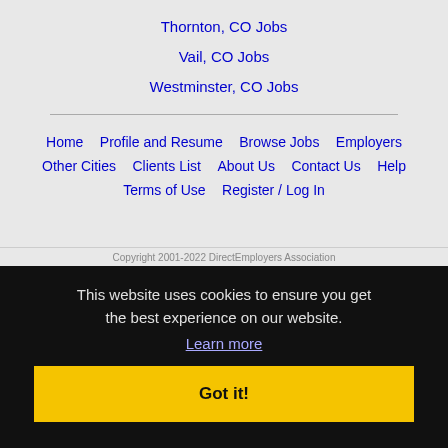Thornton, CO Jobs
Vail, CO Jobs
Westminster, CO Jobs
Home | Profile and Resume | Browse Jobs | Employers | Other Cities | Clients List | About Us | Contact Us | Help | Terms of Use | Register / Log In
Copyright 2001-2022 DirectEmployers Association
This website uses cookies to ensure you get the best experience on our website. Learn more Got it!